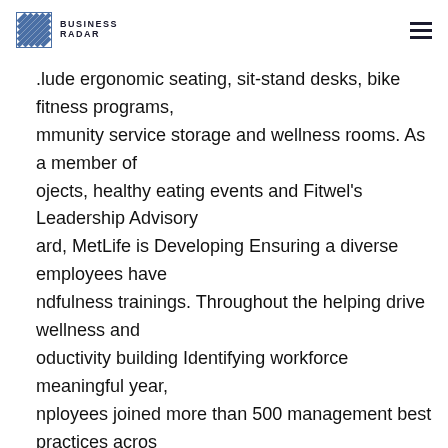BUSINESS RADAR
.lude ergonomic seating, sit-stand desks, bike fitness programs, mmunity service storage and wellness rooms. As a member of ojects, healthy eating events and Fitwel's Leadership Advisory ard, MetLife is Developing Ensuring a diverse employees have ndfulness trainings. Throughout the helping drive wellness and oductivity building Identifying workforce meaningful year, nployees joined more than 500 management best practices acros e real top diverse and inclusive work and deliver wellness activitie d events through our talent estate industry. policies and high usiness Wellness for Life program. practices performance Our New rk City headquarters features a "mindfulness lab," Listening to nployees filled with plants and calming music, to help employees charge. Our Global Diversity and Inclusion Council, chaired by etLife's CEO, advises on the strategy, We view organizational healt e and four regional, cross-business D&I task force teams, chaired b nior leaders, drive programs personal health, as a top priority. In r and initiatives at the local level. To ensure progress, we survey